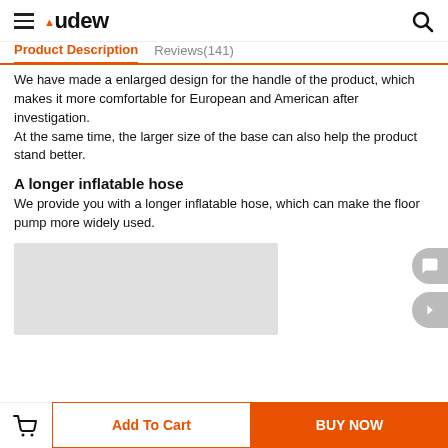Audew
Product Description    Reviews(141)
We have made a enlarged design for the handle of the product, which makes it more comfortable for European and American after investigation.
At the same time, the larger size of the base can also help the product stand better.
A longer inflatable hose
We provide you with a longer inflatable hose, which can make the floor pump more widely used.
[Figure (photo): Product image placeholder (gray box)]
Add To Cart    BUY NOW